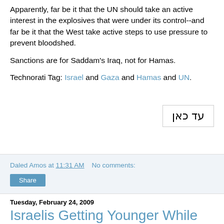Apparently, far be it that the UN should take an active interest in the explosives that were under its control--and far be it that the West take active steps to use pressure to prevent bloodshed.
Sanctions are for Saddam's Iraq, not for Hamas.
Technorati Tag: Israel and Gaza and Hamas and UN.
[Figure (other): Hebrew text box reading 'עד כאן' in a bordered box]
Daled Amos at 11:31 AM   No comments:
Share
Tuesday, February 24, 2009
Israelis Getting Younger While Palestinian Arabs Getting Older
One of the key arguments used in defense for land-for-peace